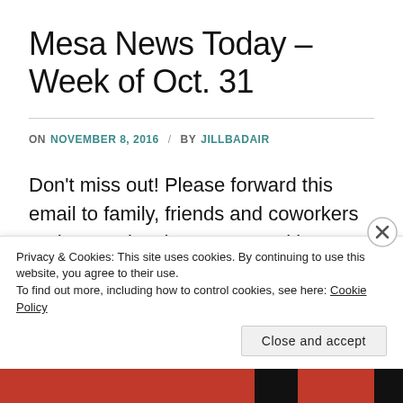Mesa News Today – Week of Oct. 31
ON NOVEMBER 8, 2016 / BY JILLBADAIR
Don't miss out! Please forward this email to family, friends and coworkers and to receive the FREE weekly newsletter delivered right to your inbox,
Privacy & Cookies: This site uses cookies. By continuing to use this website, you agree to their use. To find out more, including how to control cookies, see here: Cookie Policy
Close and accept